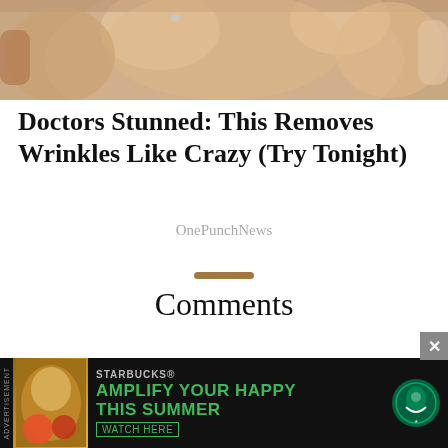[Figure (photo): Close-up photo of a person's face/skin, cropped at top, showing skin and hair area]
Doctors Stunned: This Removes Wrinkles Like Crazy (Try Tonight)
OnePunchNews
Comments
Comments  Community  🔒  1  Login
[Figure (photo): Starbucks advertisement banner: AMPLIFY YOUR HAPPY THIS SUMMER - WATCH HERE, with Starbucks logo]